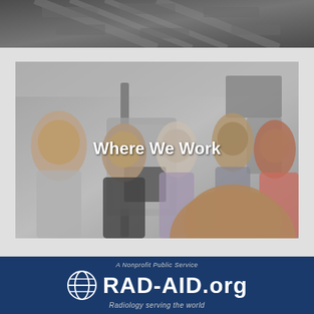[Figure (photo): Aerial view of a large room or facility, taken from above, showing rows of equipment or desks]
[Figure (photo): Group photo of five people standing in a medical radiology room with imaging equipment. Text overlay reads 'Where We Work']
A Nonprofit Public Service
RAD-AID.org
Radiology serving the world